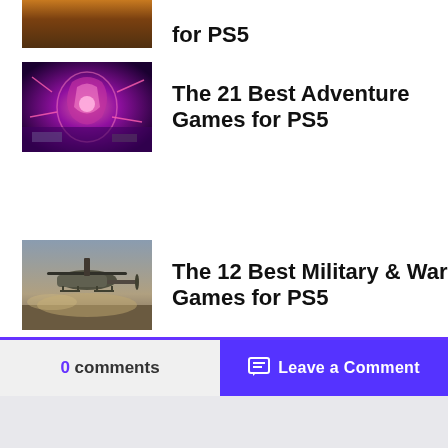[Figure (photo): Partial game screenshot at top - action/explosion scene]
for PS5
[Figure (photo): Game screenshot showing a character with pink/red energy effects in an urban environment]
The 21 Best Adventure Games for PS5
[Figure (photo): Game screenshot showing a military helicopter in a dusty combat environment]
The 12 Best Military & War Games for PS5
0 comments
Leave a Comment